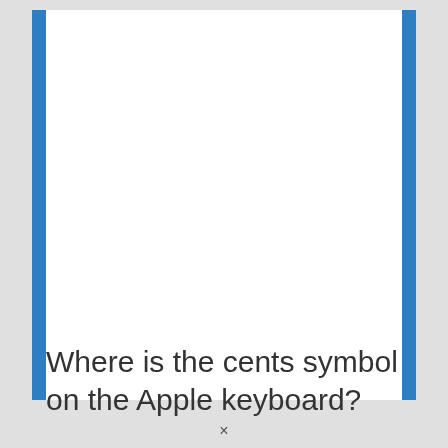Where is the cents symbol on the Apple keyboard?